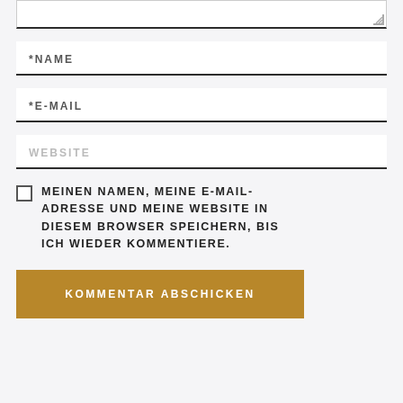[Figure (screenshot): Bottom edge of a textarea input field with resize handle indicator in bottom-right corner]
*NAME
*E-MAIL
WEBSITE
MEINEN NAMEN, MEINE E-MAIL-ADRESSE UND MEINE WEBSITE IN DIESEM BROWSER SPEICHERN, BIS ICH WIEDER KOMMENTIERE.
KOMMENTAR ABSCHICKEN